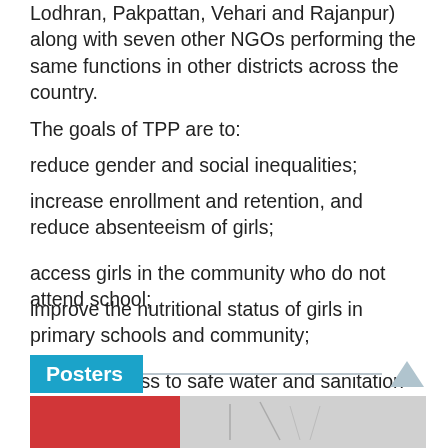Lodhran, Pakpattan, Vehari and Rajanpur) along with seven other NGOs performing the same functions in other districts across the country.
The goals of TPP are to:
reduce gender and social inequalities;
increase enrollment and retention, and reduce absenteeism of girls;
access girls in the community who do not attend school;
improve the nutritional status of girls in primary schools and community;
provide access to safe water and sanitation facilities; and
organize communities into School Nutrition Committees comprising teachers, parents and students.
Posters
[Figure (photo): Bottom strip showing a poster image with red and gray sections]